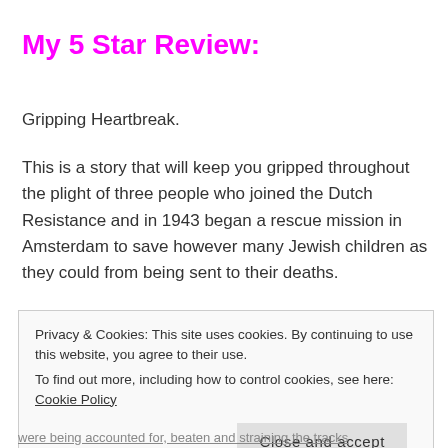My 5 Star Review:
Gripping Heartbreak.
This is a story that will keep you gripped throughout the plight of three people who joined the Dutch Resistance and in 1943 began a rescue mission in Amsterdam to save however many Jewish children as they could from being sent to their deaths.
Privacy & Cookies: This site uses cookies. By continuing to use this website, you agree to their use.
To find out more, including how to control cookies, see here: Cookie Policy
Close and accept
were being accounted for, beaten and straining the tracks